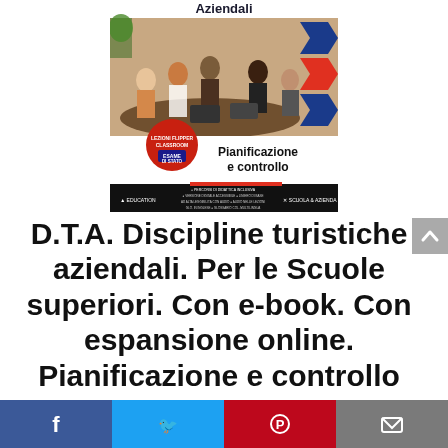[Figure (illustration): Book cover for 'D.T.A. Discipline turistiche aziendali - Pianificazione e controllo'. Shows business people meeting at a table, with blue and red chevron arrows on the right side, LEZIONI FLIPPER CLASSROOM / ESAME DI STATO badge, and publisher logos (Pearson Education / Scuola & Azienda).]
D.T.A. Discipline turistiche aziendali. Per le Scuole superiori. Con e-book. Con espansione online. Pianificazione e controllo